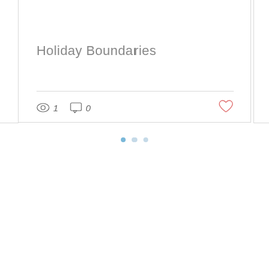[Figure (screenshot): Blog post card showing title 'Holiday Boundaries' with view count (eye icon, 1), comment count (speech bubble icon, 0), and a heart/like button. Below the card are pagination dots (one active blue dot and two lighter dots).]
Holiday Boundaries
1
0